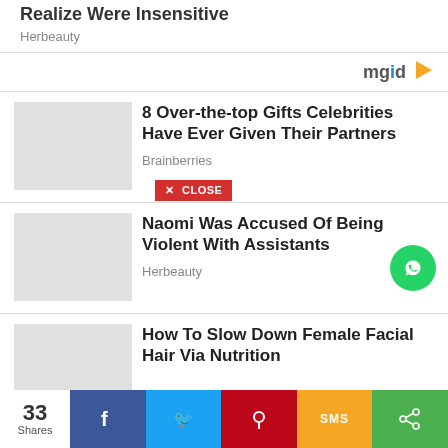Realize Were Insensitive
Herbeauty
[Figure (logo): mgid logo with play button]
[Figure (photo): Thumbnail placeholder for '8 Over-the-top Gifts Celebrities Have Ever Given Their Partners']
8 Over-the-top Gifts Celebrities Have Ever Given Their Partners
Brainberries
✕ CLOSE
[Figure (photo): Thumbnail placeholder for 'Naomi Was Accused Of Being Violent With Assistants']
Naomi Was Accused Of Being Violent With Assistants
Herbeauty
[Figure (photo): Thumbnail placeholder for 'How To Slow Down Female Facial Hair Via Nutrition']
How To Slow Down Female Facial Hair Via Nutrition
33 Shares